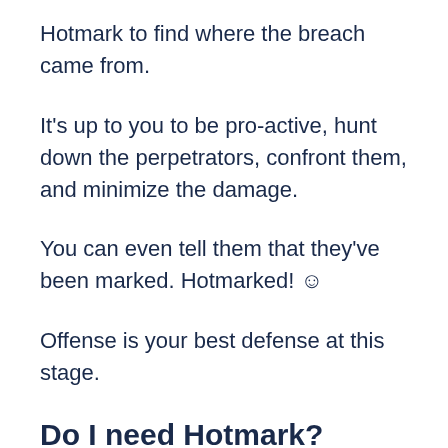Hotmark to find where the breach came from.
It's up to you to be pro-active, hunt down the perpetrators, confront them, and minimize the damage.
You can even tell them that they've been marked. Hotmarked! ☺
Offense is your best defense at this stage.
Do I need Hotmark?
While Hotmark doesn't to…